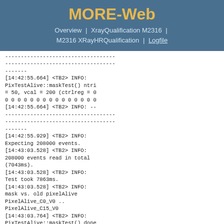MORE-Web
Overview | XrayQualification M2316 | M2316 XRayHRQualification | Logfile
-----------------------------------
-----------------------------------
-------
[14:42:55.664] <TB2> INFO:
PixTestAlive::maskTest() ntri
= 50, vcal = 200 (ctrlreg = 0
0 0 0 0 0 0 0 0 0 0 0 0 0 0 0
[14:42:55.664] <TB2> INFO: --
-----------------------------------
-----------------------------------
-------
[14:42:55.929] <TB2> INFO:
Expecting 208000 events.
[14:43:03.528] <TB2> INFO:
208000 events read in total
(7043ms).
[14:43:03.528] <TB2> INFO:
Test took 7863ms.
[14:43:03.528] <TB2> INFO:
mask vs. old pixelAlive
PixelAlive_C0_V0 ..
PixelAlive_C15_V0
[14:43:03.764] <TB2> INFO:
PixTestAlive::maskTest() done
[14:43:03.764] <TB2> INFO: